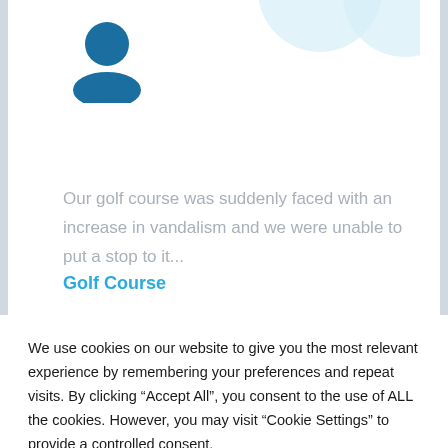[Figure (illustration): Dark blue user/person silhouette icon (circle head above shoulders shape)]
[Figure (illustration): Light blue partial circles decorative background in top right corner]
Our golf course was suddenly faced with an increase in vandalism and we were unable to put a stop to it...
Golf Course
We use cookies on our website to give you the most relevant experience by remembering your preferences and repeat visits. By clicking “Accept All”, you consent to the use of ALL the cookies. However, you may visit “Cookie Settings” to provide a controlled consent.
Read More
Cookie Settings
Accept All